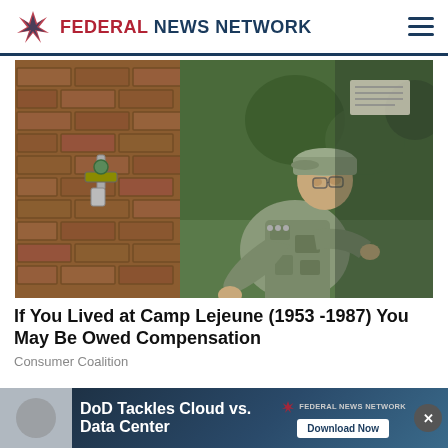FEDERAL NEWS NETWORK
[Figure (photo): A U.S. Air Force airman in camouflage uniform and cap crouching near a brick wall, examining or working on a water pipe/valve fixture mounted on the wall.]
If You Lived at Camp Lejeune (1953 -1987) You May Be Owed Compensation
Consumer Coalition
[Figure (infographic): Advertisement banner: DoD Tackles Cloud vs. Data Center — Federal News Network — Download Now button. Dark blue background with FNN logo.]